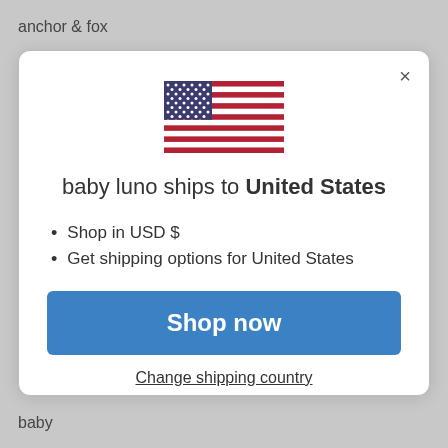anchor & fox
[Figure (illustration): US flag icon]
baby luno ships to United States
Shop in USD $
Get shipping options for United States
Shop now
Change shipping country
baby